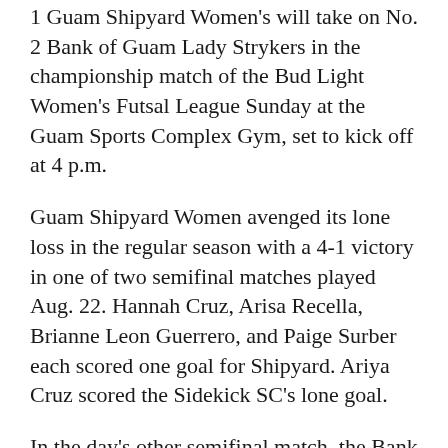1 Guam Shipyard Women's will take on No. 2 Bank of Guam Lady Strykers in the championship match of the Bud Light Women's Futsal League Sunday at the Guam Sports Complex Gym, set to kick off at 4 p.m.
Guam Shipyard Women avenged its lone loss in the regular season with a 4-1 victory in one of two semifinal matches played Aug. 22. Hannah Cruz, Arisa Recella, Brianne Leon Guerrero, and Paige Surber each scored one goal for Shipyard. Ariya Cruz scored the Sidekick SC's lone goal.
In the day's other semifinal match, the Bank of Guam Lady Strykers narrowly